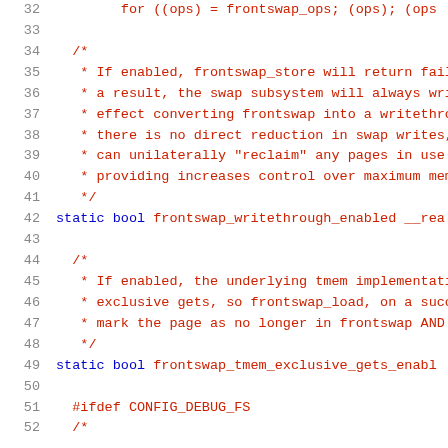[Figure (screenshot): Source code listing in a monospace font, showing C code with line numbers 32-52. Line numbers are in grey, keywords like 'static' and 'bool' are in blue, and the rest of the code/comments are in dark red/maroon.]